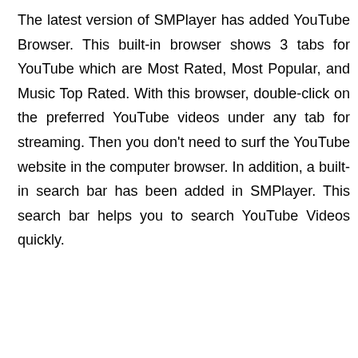The latest version of SMPlayer has added YouTube Browser. This built-in browser shows 3 tabs for YouTube which are Most Rated, Most Popular, and Music Top Rated. With this browser, double-click on the preferred YouTube videos under any tab for streaming. Then you don't need to surf the YouTube website in the computer browser. In addition, a built-in search bar has been added in SMPlayer. This search bar helps you to search YouTube Videos quickly.